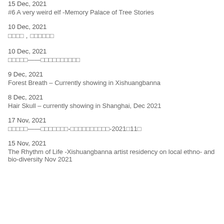15 Dec, 2021
#6 A very weird elf -Memory Palace of Tree Stories
10 Dec, 2021
□□□□, □□□□□□
10 Dec, 2021
□□□□□——□□□□□□□□□□
9 Dec, 2021
Forest Breath – Currently showing in Xishuangbanna
8 Dec, 2021
Hair Skull – currently showing in Shanghai, Dec 2021
17 Nov, 2021
□□□□□——□□□□□□□-□□□□□□□□□□□-2021□11□
15 Nov, 2021
The Rhythm of Life -Xishuangbanna artist residency on local ethno- and bio-diversity Nov 2021